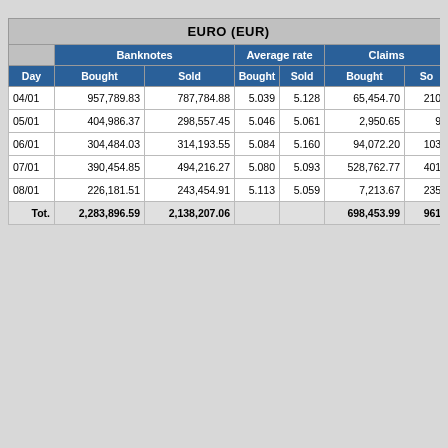| Day | Banknotes Bought | Banknotes Sold | Average rate Bought | Average rate Sold | Claims Bought | Claims Sold |
| --- | --- | --- | --- | --- | --- | --- |
| 04/01 | 957,789.83 | 787,784.88 | 5.039 | 5.128 | 65,454.70 | 210,... |
| 05/01 | 404,986.37 | 298,557.45 | 5.046 | 5.061 | 2,950.65 | 9,... |
| 06/01 | 304,484.03 | 314,193.55 | 5.084 | 5.160 | 94,072.20 | 103,... |
| 07/01 | 390,454.85 | 494,216.27 | 5.080 | 5.093 | 528,762.77 | 401,... |
| 08/01 | 226,181.51 | 243,454.91 | 5.113 | 5.059 | 7,213.67 | 235,... |
| Tot. | 2,283,896.59 | 2,138,207.06 |  |  | 698,453.99 | 961,... |